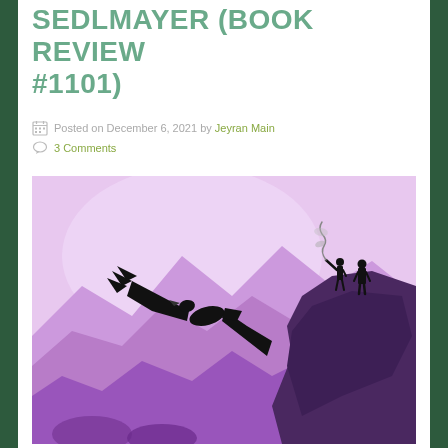SEDLMAYER (BOOK REVIEW #1101)
Posted on December 6, 2021 by Jeyran Main
3 Comments
[Figure (illustration): Book cover illustration showing a purple-toned mountain landscape with a large black eagle/condor in flight on the left, and two silhouetted figures standing on a dark rocky cliff on the right, with a light purple sky background.]